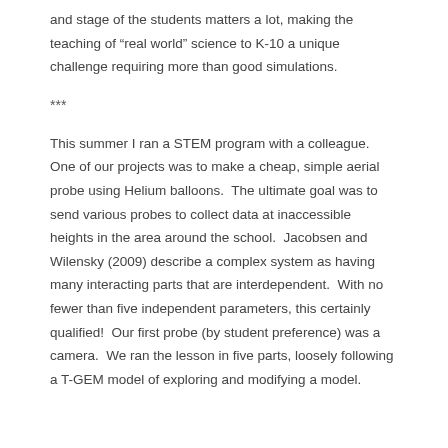and stage of the students matters a lot, making the teaching of “real world” science to K-10 a unique challenge requiring more than good simulations.
***
This summer I ran a STEM program with a colleague.  One of our projects was to make a cheap, simple aerial probe using Helium balloons.  The ultimate goal was to send various probes to collect data at inaccessible heights in the area around the school.  Jacobsen and Wilensky (2009) describe a complex system as having many interacting parts that are interdependent.  With no fewer than five independent parameters, this certainly qualified!  Our first probe (by student preference) was a camera.  We ran the lesson in five parts, loosely following a T-GEM model of exploring and modifying a model.